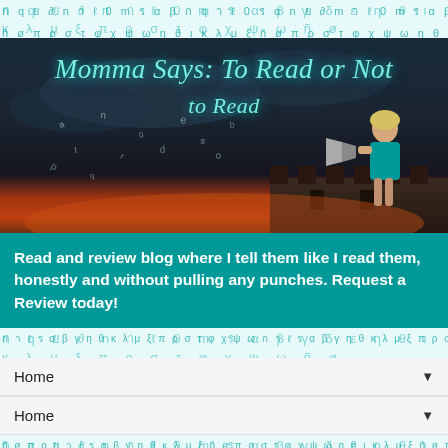[Figure (illustration): Blog header banner reading 'Momma Says: To Read or Not to Read' with a woman in teal dress holding a megaphone, letters floating in the air, castle/building silhouette, dark stormy sky with orange sunset glow]
Read and review blog where I tell them like I read them, honestly and without pulling any punches. Request a Review today!
Home ▼
Home ▼
THURSDAY, MAY 6, 2021
**Book Review** Ocean Prey by John Sandford